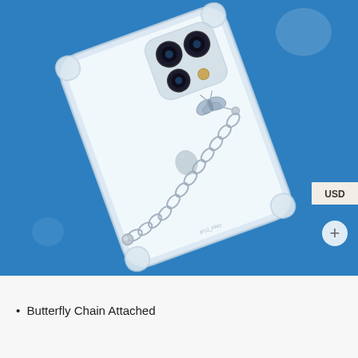[Figure (photo): A transparent iPhone 12 Pro clear case with a silver butterfly charm and silver chain strap attached, photographed on a blue background. The case shows the Apple logo and triple-camera system. A silver oval-link chain runs diagonally across the case. A USD currency badge and a plus button are overlaid in the upper-right area.]
Butterfly Chain Attached